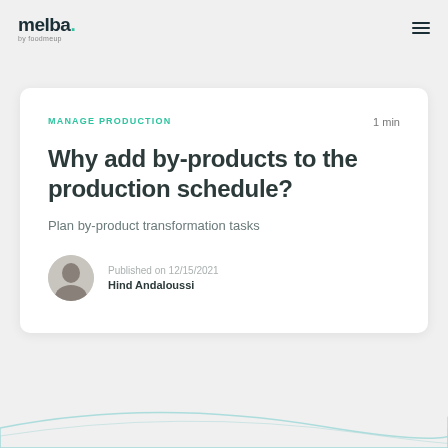melba. by foodmeup
MANAGE PRODUCTION
1 min
Why add by-products to the production schedule?
Plan by-product transformation tasks
Published on 12/15/2021
Hind Andaloussi